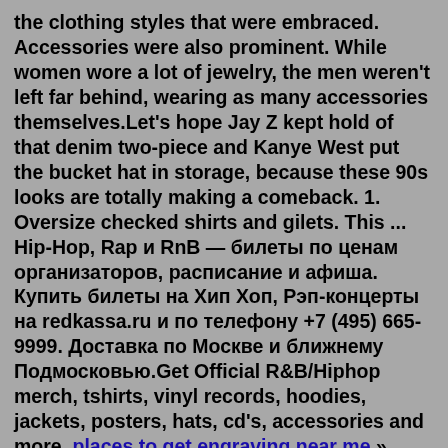the clothing styles that were embraced. Accessories were also prominent. While women wore a lot of jewelry, the men weren't left far behind, wearing as many accessories themselves.Let's hope Jay Z kept hold of that denim two-piece and Kanye West put the bucket hat in storage, because these 90s looks are totally making a comeback. 1. Oversize checked shirts and gilets. This ... Hip-Hop, Rap и RnB — билеты по ценам организаторов, расписание и афиша. Купить билеты на Хип Хоп, Рэп-концерты на redkassa.ru и по телефону +7 (495) 665-9999. Доставка по Москве и ближнему Подмосковью.Get Official R&B/Hiphop merch, tshirts, vinyl records, hoodies, jackets, posters, hats, cd's, accessories and more. places to get engraving near me » Determination by Termanology. hip-hop-rap. all electronic rock metal alternative hip-hop/rap experimental punk folk pop ambient soundtrack world jazz acoustic funk r&b/soul devotional classical reggae podcasts country spoken word comedy blues